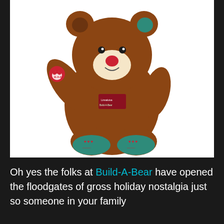[Figure (photo): A Build-A-Bear teddy bear with brown plush fur, waving one paw. The bear has a cream-colored muzzle, a red nose, and teal/green patterned footpads. It has a red label on its chest and a paw badge on its raised arm. Background is white.]
Oh yes the folks at Build-A-Bear have opened the floodgates of gross holiday nostalgia just so someone in your family